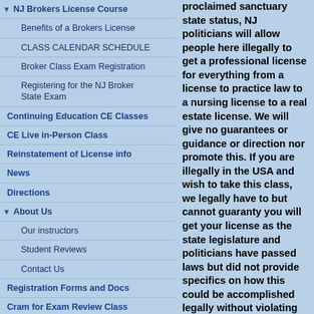NJ Brokers License Course
Benefits of a Brokers License
CLASS CALENDAR SCHEDULE
Broker Class Exam Registration
Registering for the NJ Broker State Exam
Continuing Education CE Classes
CE Live in-Person Class
Reinstatement of License info
News
Directions
About Us
Our instructors
Student Reviews
Contact Us
Registration Forms and Docs
Cram for Exam Review Class
Useful Links
Social Media Sites
Our Facebook Page
Follow Us on Twitter
Youtube Channel
Twitter
proclaimed sanctuary state status, NJ politicians will allow people here illegally to get a professional license for everything from a license to practice law to a nursing license to a real estate license. We will give no guarantees or guidance or direction nor promote this. If you are illegally in the USA and wish to take this class, we legally have to but cannot guaranty you will get your license as the state legislature and politicians have passed laws but did not provide specifics on how this could be accomplished legally without violating other laws or legislative rules.